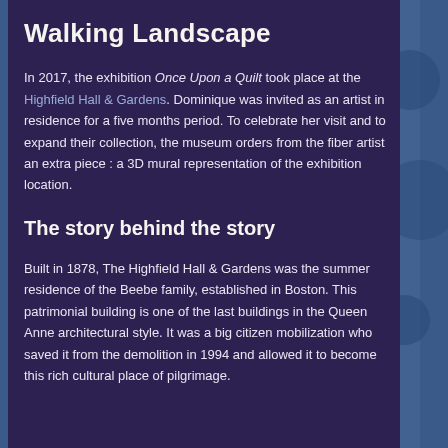Walking Landscape
In 2017, the exhibition Once Upon a Quilt took place at the Highfield Hall & Gardens. Dominique was invited as an artist in residence for a five months period. To celebrate her visit and to expand their collection, the museum orders from the fiber artist an extra piece : a 3D mural representation of the exhibition location.
The story behind the story
Built in 1878, The Highfield Hall & Gardens was the summer residence of the Beebe family, established in Boston. This patrimonial building is one of the last buildings in the Queen Anne architectural style. It was a big citizen mobilization who saved it from the demolition in 1994 and allowed it to become this rich cultural place of pilgrimage.